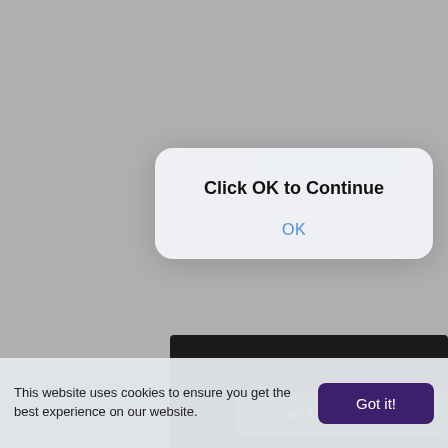[Figure (screenshot): Grey background with a partially visible dark advertisement image showing a 'BEAT INFLATION' green button, overlaid by a modal dialog popup saying 'Click OK to Continue' with an OK link, and a cookie consent banner at the bottom.]
Click here to continue
Click OK to Continue
OK
BEAT INFLATION
This website uses cookies to ensure you get the best experience on our website.
Got it!